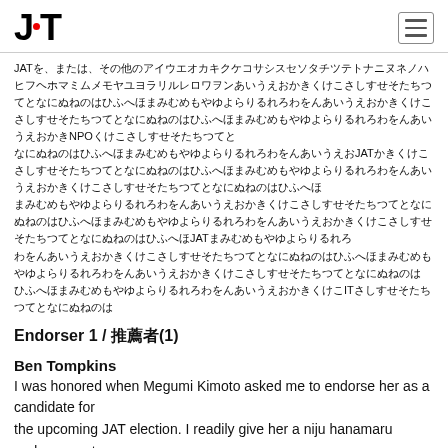JAT
JATはJATはJATはJATはJATはJATはJATはJATはJATはJATはJATはJATはJATはJATはJATはJATはJATはJATはJATはJATはJATはJATはJATはJATはJATはJATはJATはJATはJATはJATはJATはJATはJATはJATはJATはJATはNPOはJATはJATはJATはJATはJATはJATはJATはJATはJATはJATはJATはJATはJATはJATはJATはJATはJATはJATはJATはJATはJATはJATはJATはJATはJATはJATはJATはJATはJATはJATはJATはJATはJATはJATはJATはJATはJATはJATはJATはJATはJATはJATはJATはJATはJATはJATはJATはJATはJATはJATはJATはJATはJATはJATはJATはJATはJATはJATはJATはJATはJATはJATはJATはJATはJATはJATはJATはJATはJATはJATはJATはJATはJATはJATはJATはJATはJATはJATはJATはJATはJATはJATはJATはJATはJATはITはJATはJATはJATはJATはJATは
Endorser 1 / 推薦者(1)
Ben Tompkins
I was honored when Megumi Kimoto asked me to endorse her as a candidate for the upcoming JAT election. I readily give her a niju hanamaru endorsement here. As a JAT member, a member of several JAT